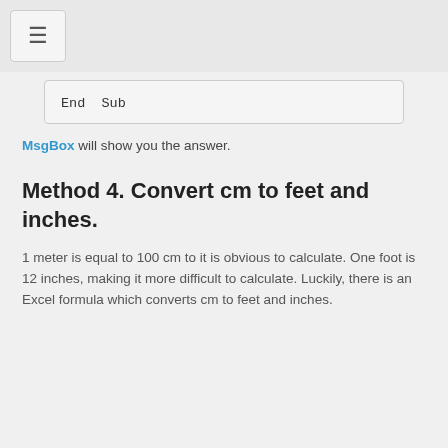☰
End  Sub
MsgBox will show you the answer.
Method 4. Convert cm to feet and inches.
1 meter is equal to 100 cm to it is obvious to calculate. One foot is 12 inches, making it more difficult to calculate. Luckily, there is an Excel formula which converts cm to feet and inches.